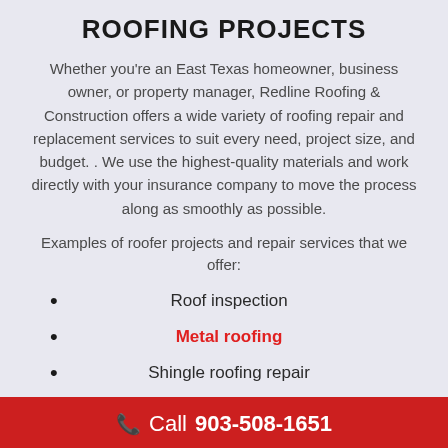ROOFING PROJECTS
Whether you're an East Texas homeowner, business owner, or property manager, Redline Roofing & Construction offers a wide variety of roofing repair and replacement services to suit every need, project size, and budget. . We use the highest-quality materials and work directly with your insurance company to move the process along as smoothly as possible.
Examples of roofer projects and repair services that we offer:
Roof inspection
Metal roofing
Shingle roofing repair
Shingle roofing replacement